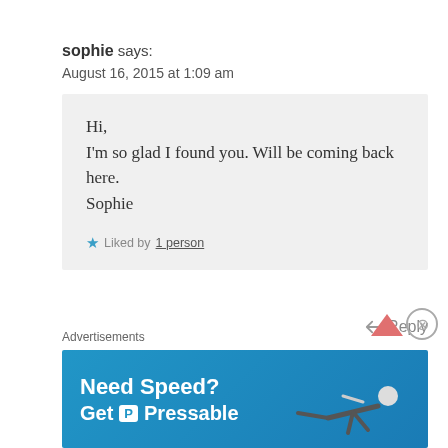sophie says:
August 16, 2015 at 1:09 am
Hi,
I'm so glad I found you. Will be coming back here.
Sophie
★ Liked by 1 person
↳ Reply
Lora by Lora says:
Advertisements
[Figure (infographic): Advertisement banner for Pressable web hosting: 'Need Speed? Get P Pressable' on blue background with a person flying horizontally.]